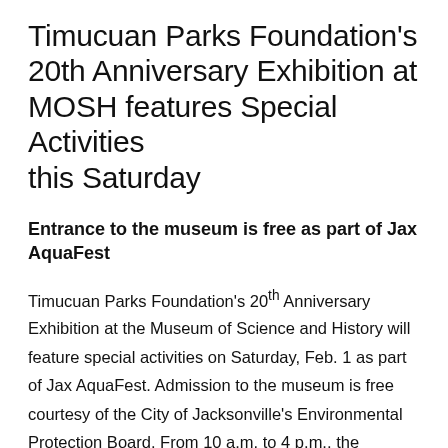Timucuan Parks Foundation's 20th Anniversary Exhibition at MOSH features Special Activities this Saturday
Entrance to the museum is free as part of Jax AquaFest
Timucuan Parks Foundation's 20th Anniversary Exhibition at the Museum of Science and History will feature special activities on Saturday, Feb. 1 as part of Jax AquaFest. Admission to the museum is free courtesy of the City of Jacksonville's Environmental Protection Board. From 10 a.m. to 4 p.m., the National Park Service